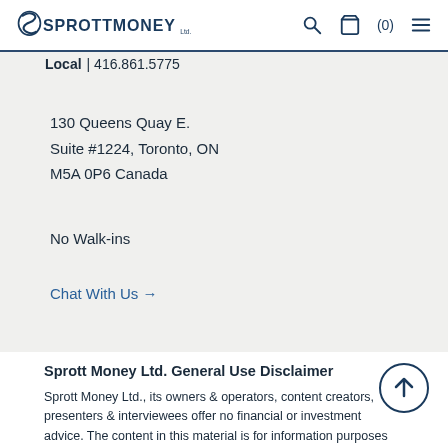Sprott Money — navigation header with logo, search, cart (0), and menu
Local | 416.861.5775
130 Queens Quay E.
Suite #1224, Toronto, ON
M5A 0P6 Canada
No Walk-ins
Chat With Us →
Sprott Money Ltd. General Use Disclaimer
Sprott Money Ltd., its owners & operators, content creators, presenters & interviewees offer no financial or investment advice. The content in this material is for information purposes only and is not an offer or solicitation for the sale of any financial product or